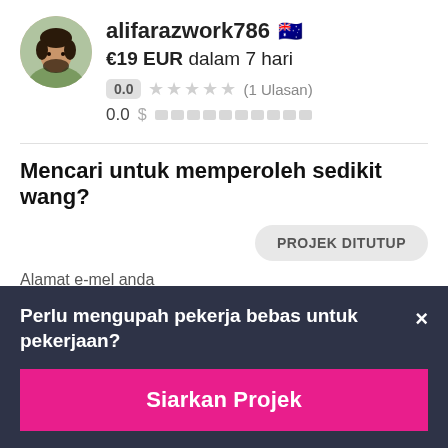[Figure (photo): Profile photo of user alifarazwork786, a man with beard, wearing light clothing, circular avatar crop]
alifarazwork786 🇦🇺
€19 EUR dalam 7 hari
0.0 ★★★★★ (1 Ulasan)
0.0 $ ██████████
Mencari untuk memperoleh sedikit wang?
PROJEK DITUTUP
Alamat e-mel anda
Perlu mengupah pekerja bebas untuk pekerjaan?
Siarkan Projek